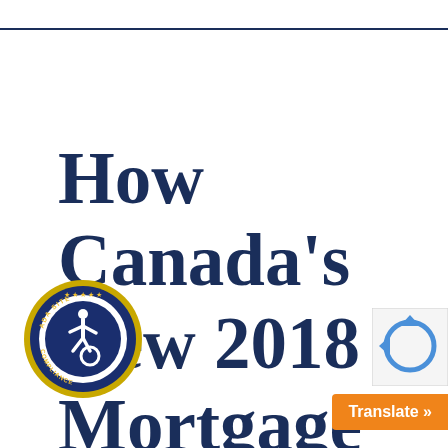How Canada’s New 2018 Mortgage
[Figure (logo): ADA Site Compliance badge — circular blue and gold seal with accessibility icon and stars]
[Figure (other): reCAPTCHA verification widget box]
Translate »